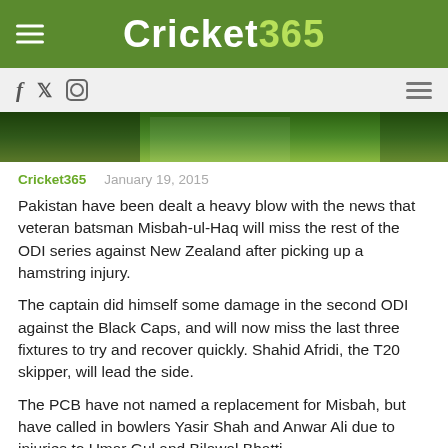Cricket365
[Figure (photo): Cricket player photo strip, partial view showing players in green kit]
Cricket365   January 19, 2015
Pakistan have been dealt a heavy blow with the news that veteran batsman Misbah-ul-Haq will miss the rest of the ODI series against New Zealand after picking up a hamstring injury.
The captain did himself some damage in the second ODI against the Black Caps, and will now miss the last three fixtures to try and recover quickly. Shahid Afridi, the T20 skipper, will lead the side.
The PCB have not named a replacement for Misbah, but have called in bowlers Yasir Shah and Anwar Ali due to injuries to Umar Gul and Bilawal Bhatti.